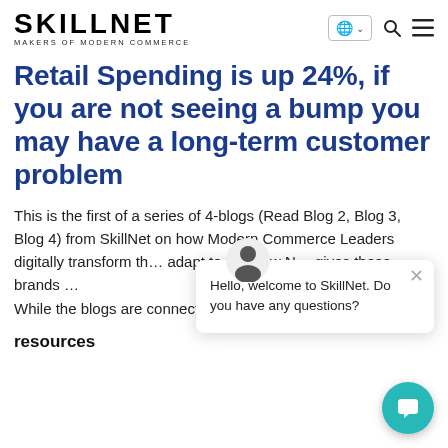SKILLNET — MAKERS OF MODERN COMMERCE
Retail Spending is up 24%, if you are not seeing a bump you may have a long-term customer problem
This is the first of a series of 4-blogs (Read Blog 2, Blog 3, Blog 4) from SkillNet on how Modern Commerce Leaders digitally transform th… adapt to the New N… gives these brands … While the blogs are connected each of [...]
[Figure (screenshot): Chat widget overlay showing avatar icon and speech bubble: 'Hello, welcome to SkillNet. Do you have any questions?' with a close (×) button, and a teal circular chat FAB button in the bottom right.]
resources